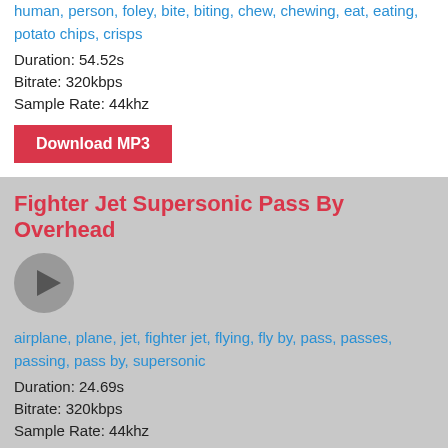human, person, foley, bite, biting, chew, chewing, eat, eating, potato chips, crisps
Duration: 54.52s
Bitrate: 320kbps
Sample Rate: 44khz
Download MP3
Fighter Jet Supersonic Pass By Overhead
[Figure (other): Play button icon — circular gray button with triangle play symbol]
airplane, plane, jet, fighter jet, flying, fly by, pass, passes, passing, pass by, supersonic
Duration: 24.69s
Bitrate: 320kbps
Sample Rate: 44khz
Download MP3